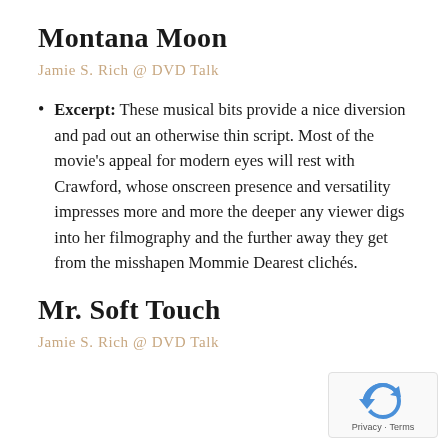Montana Moon
Jamie S. Rich @ DVD Talk
Excerpt: These musical bits provide a nice diversion and pad out an otherwise thin script. Most of the movie's appeal for modern eyes will rest with Crawford, whose onscreen presence and versatility impresses more and more the deeper any viewer digs into her filmography and the further away they get from the misshapen Mommie Dearest clichés.
Mr. Soft Touch
Jamie S. Rich @ DVD Talk